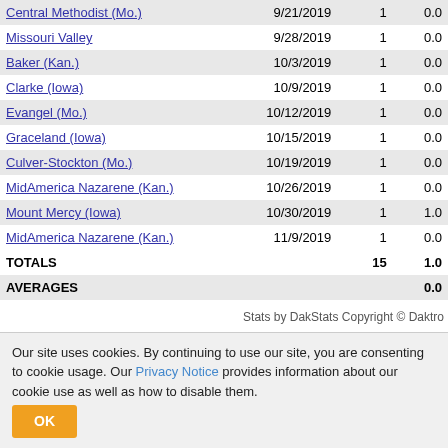| Opponent | Date |  |  |
| --- | --- | --- | --- |
| Central Methodist (Mo.) | 9/21/2019 | 1 | 0.0 |
| Missouri Valley | 9/28/2019 | 1 | 0.0 |
| Baker (Kan.) | 10/3/2019 | 1 | 0.0 |
| Clarke (Iowa) | 10/9/2019 | 1 | 0.0 |
| Evangel (Mo.) | 10/12/2019 | 1 | 0.0 |
| Graceland (Iowa) | 10/15/2019 | 1 | 0.0 |
| Culver-Stockton (Mo.) | 10/19/2019 | 1 | 0.0 |
| MidAmerica Nazarene (Kan.) | 10/26/2019 | 1 | 0.0 |
| Mount Mercy (Iowa) | 10/30/2019 | 1 | 1.0 |
| MidAmerica Nazarene (Kan.) | 11/9/2019 | 1 | 0.0 |
| TOTALS |  | 15 | 1.0 |
| AVERAGES |  |  | 0.0 |
Stats by DakStats Copyright © Daktro
Our site uses cookies. By continuing to use our site, you are consenting to cookie usage. Our Privacy Notice provides information about our cookie use as well as how to disable them.